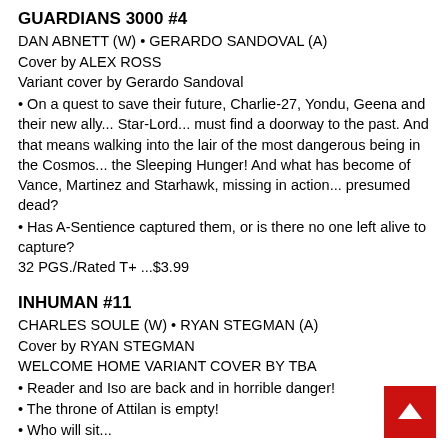GUARDIANS 3000 #4
DAN ABNETT (W) • GERARDO SANDOVAL (A)
Cover by ALEX ROSS
Variant cover by Gerardo Sandoval
• On a quest to save their future, Charlie-27, Yondu, Geena and their new ally... Star-Lord... must find a doorway to the past. And that means walking into the lair of the most dangerous being in the Cosmos... the Sleeping Hunger! And what has become of Vance, Martinez and Starhawk, missing in action... presumed dead?
• Has A-Sentience captured them, or is there no one left alive to capture?
32 PGS./Rated T+ ...$3.99
INHUMAN #11
CHARLES SOULE (W) • RYAN STEGMAN (A)
Cover by RYAN STEGMAN
WELCOME HOME VARIANT COVER BY TBA
• Reader and Iso are back and in horrible danger!
• The throne of Attilan is empty!
• Who will sit...